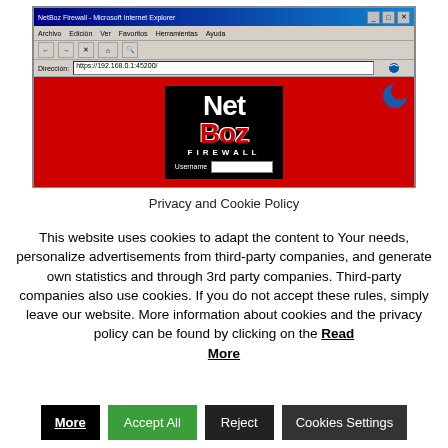[Figure (screenshot): Microsoft Internet Explorer browser window showing the NetBoz Firewall login page. Address bar shows https://192.168.0.1:45200/. The page content shows a red background with a black box containing the NetBoz Firewall logo (white 'Net' text and red 'Boz' text), and a Username field below.]
Privacy and Cookie Policy
This website uses cookies to adapt the content to Your needs, personalize advertisements from third-party companies, and generate own statistics and through 3rd party companies. Third-party companies also use cookies. If you do not accept these rules, simply leave our website. More information about cookies and the privacy policy can be found by clicking on the Read More
Accept All
Reject
Cookies Settings